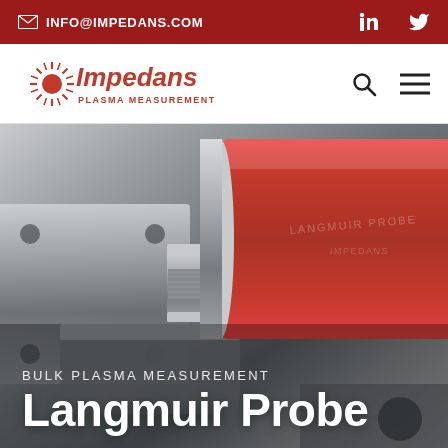INFO@IMPEDANS.COM
[Figure (logo): Impedans Plasma Measurement logo with starburst sun graphic in dark red]
[Figure (photo): Close-up photograph of a Langmuir Probe instrument — a red cylindrical probe body mounted in metallic/stainless steel flanged hardware against a grey background]
BULK PLASMA MEASUREMENT
Langmuir Probe